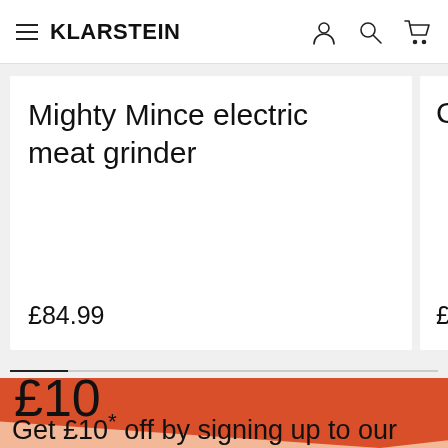KLARSTEIN
Mighty Mince electric meat grinder
£84.99
Chil
£25.9
£10
Get £10* off by signing up to our